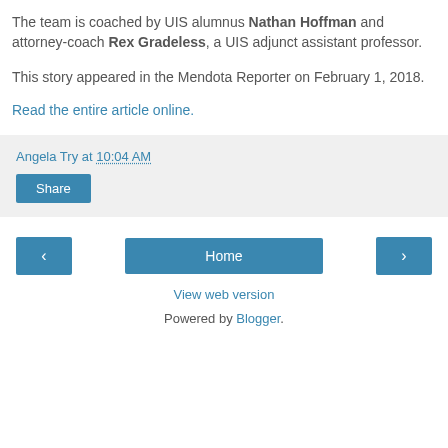The team is coached by UIS alumnus Nathan Hoffman and attorney-coach Rex Gradeless, a UIS adjunct assistant professor.
This story appeared in the Mendota Reporter on February 1, 2018.
Read the entire article online.
Angela Try at 10:04 AM
Share
Home | View web version | Powered by Blogger.